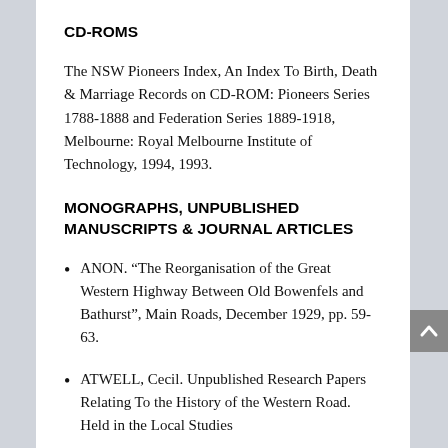CD-ROMS
The NSW Pioneers Index, An Index To Birth, Death & Marriage Records on CD-ROM: Pioneers Series 1788-1888 and Federation Series 1889-1918, Melbourne: Royal Melbourne Institute of Technology, 1994, 1993.
MONOGRAPHS, UNPUBLISHED MANUSCRIPTS & JOURNAL ARTICLES
ANON. “The Reorganisation of the Great Western Highway Between Old Bowenfels and Bathurst”, Main Roads, December 1929, pp. 59-63.
ATWELL, Cecil. Unpublished Research Papers Relating To the History of the Western Road. Held in the Local Studies